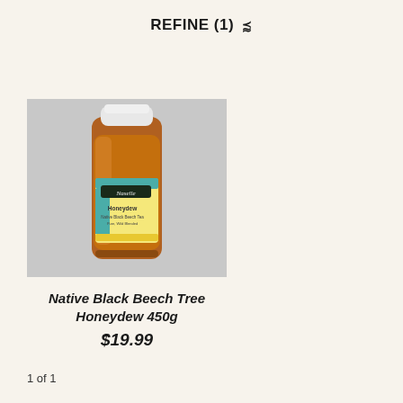REFINE (1)
[Figure (photo): A bottle of Natalie brand Native Black Beech Tree Honeydew honey (450g), amber colored honey visible through clear bottle with white cap, label shows teal and yellow stripes with product name]
Native Black Beech Tree Honeydew 450g
$19.99
1 of 1